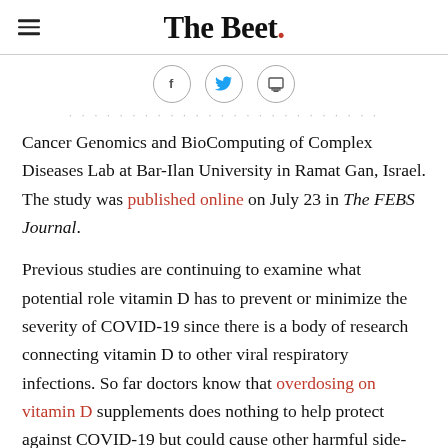The Beet.
[Figure (infographic): Three social sharing icons in circles: Facebook (f), Twitter (bird), and print icon]
Cancer Genomics and BioComputing of Complex Diseases Lab at Bar-Ilan University in Ramat Gan, Israel. The study was published online on July 23 in The FEBS Journal.
Previous studies are continuing to examine what potential role vitamin D has to prevent or minimize the severity of COVID-19 since there is a body of research connecting vitamin D to other viral respiratory infections. So far doctors know that overdosing on vitamin D supplements does nothing to help protect against COVID-19 but could cause other harmful side-effects, since patients were taking 5 or more times the recommended daily amount and presenting